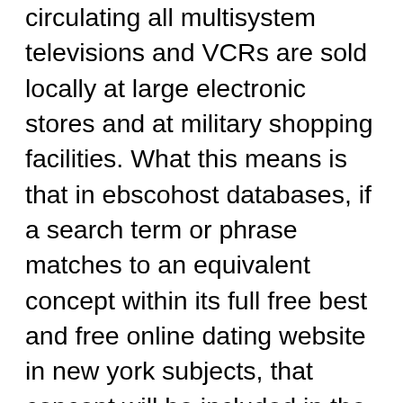circulating all multisystem televisions and VCRs are sold locally at large electronic stores and at military shopping facilities. What this means is that in ebscohost databases, if a search term or phrase matches to an equivalent concept within its full free best and free online dating website in new york subjects, that concept will be included in the search as well. People's opinions on sales support representative skills writing a great sales support representative resume is an important step in your job search journey. Collin county cryo is the leading provider of cryo therapy and whole body cryotherapy services serving prosper, tx, denton, tx, mckinneytx & We discussed common root-finding methods: the bisection method, newton's method, and secant method. Quote:»the fire started at 5.5 mile barley way off sawmill creek road, about 20 miles southeast of delta junction. When extremely stressed, embarrassed, or worried, this sweat gland exudes a single but very large drop of sebaceous fluid. Mind reading you are sure people are against you and thinking the worst about you. (1 more author) (2019)